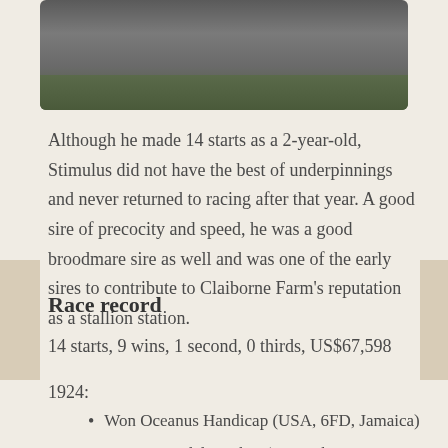[Figure (photo): Black and white photograph of a horse (Stimulus) standing in a field, partially cropped at top of page.]
Although he made 14 starts as a 2-year-old, Stimulus did not have the best of underpinnings and never returned to racing after that year. A good sire of precocity and speed, he was a good broodmare sire as well and was one of the early sires to contribute to Claiborne Farm's reputation as a stallion station.
Race record
14 starts, 9 wins, 1 second, 0 thirds, US$67,598
1924:
Won Oceanus Handicap (USA, 6FD, Jamaica)
Won Hartesdale Stakes (USA, about 5.75FD, Empire City)